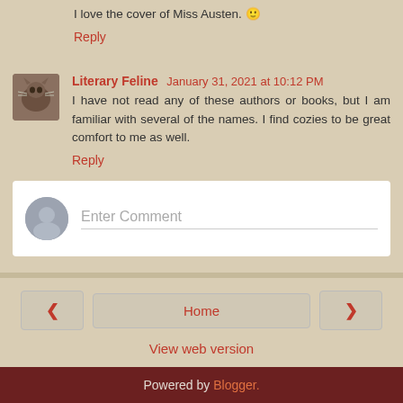I love the cover of Miss Austen. 🙂
Reply
Literary Feline  January 31, 2021 at 10:12 PM
I have not read any of these authors or books, but I am familiar with several of the names. I find cozies to be great comfort to me as well.
Reply
[Figure (other): Comment input field with placeholder avatar and Enter Comment text]
Home
View web version
Powered by Blogger.